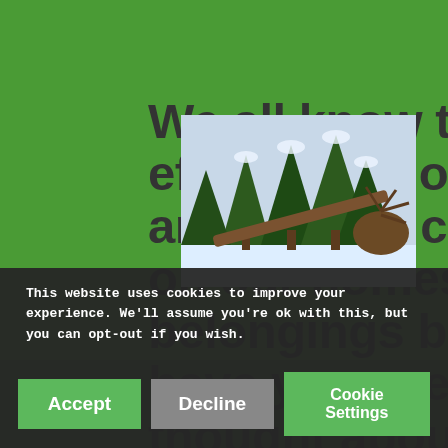We all know the effect that floods and storms cause on our homes and belongings but have you ever thought about what happens to the nearby trees?
[Figure (photo): A photograph of tall pine/fir trees in a snowy forest setting, with one tree appearing to have fallen or be uprooted.]
This website uses cookies to improve your experience. We'll assume you're ok with this, but you can opt-out if you wish.
Accept | Decline | Cookie Settings